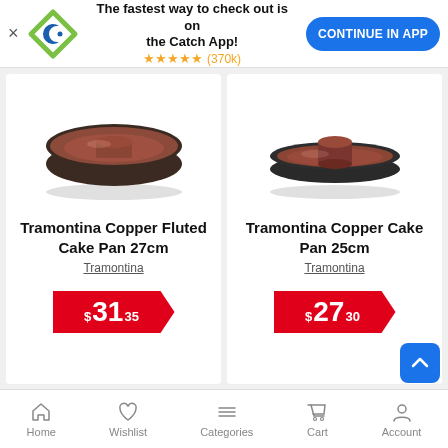[Figure (screenshot): Catch app promotional banner with logo, stars rating (370k), and Continue in App button]
[Figure (photo): Tramontina Copper Fluted Cake Pan 27cm - brown/copper colored fluted bundt-style cake pan]
Tramontina Copper Fluted Cake Pan 27cm
Tramontina
$31.35
[Figure (photo): Tramontina Copper Cake Pan 25cm - brown/copper colored round cake pan with center tube]
Tramontina Copper Cake Pan 25cm
Tramontina
$27.30
Home  Wishlist  Categories  Cart  Account